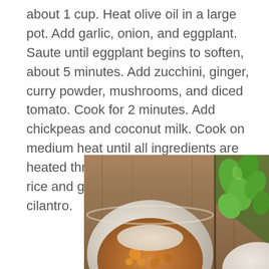about 1 cup. Heat olive oil in a large pot. Add garlic, onion, and eggplant. Saute until eggplant begins to soften, about 5 minutes. Add zucchini, ginger, curry powder, mushrooms, and diced tomato. Cook for 2 minutes. Add chickpeas and coconut milk. Cook on medium heat until all ingredients are heated through. Serve with hot brown rice and garnish with fresh chopped cilantro.
[Figure (photo): A bowl of curry dish with rice and chickpeas garnished with fresh herbs/cilantro, served on a wooden surface with fresh herbs alongside.]